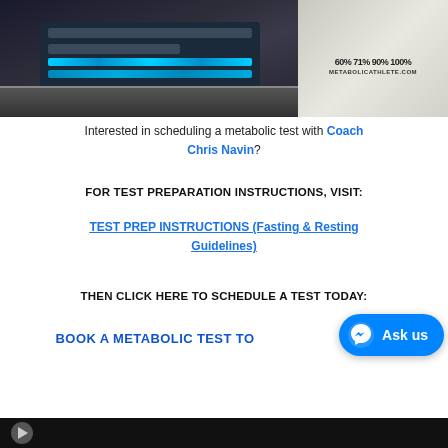[Figure (photo): Photo of a laptop showing a website with data, and a white coffee mug with text '60% 71% 90% 100%' and 'METABOLICATHLETE.COM' on a dark background]
Interested in scheduling a metabolic test with Coach Chris Navin?
FOR TEST PREPARATION INSTRUCTIONS, VISIT:
TEST PREP INSTRUCTIONS (Fasting & Resting Guidelines)
THEN CLICK HERE TO SCHEDULE A TEST TODAY:
BOOK A METABOLIC TEST TO...
[Figure (screenshot): Bottom strip showing a dark video player thumbnail with a circular logo icon]